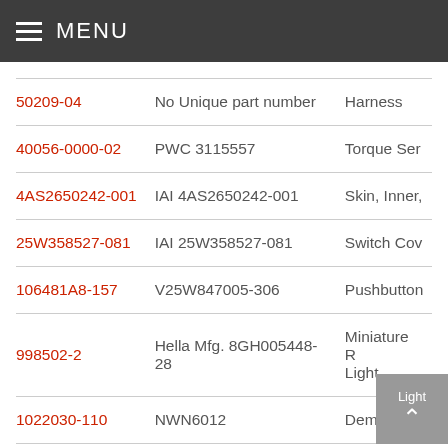MENU
| Part Number | Unique Part Number | Description |
| --- | --- | --- |
| 50209-04 | No Unique part number | Harness |
| 40056-0000-02 | PWC 3115557 | Torque Ser... |
| 4AS2650242-001 | IAI 4AS2650242-001 | Skin, Inner,... |
| 25W358527-081 | IAI 25W358527-081 | Switch Cov... |
| 106481A8-157 | V25W847005-306 | Pushbutton... |
| 998502-2 | Hella Mfg. 8GH005448-28 | Miniature R... Light |
| 1022030-110 | NWN6012 | Demulitple... |